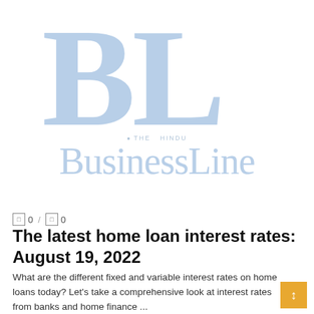[Figure (logo): The Hindu BusinessLine logo — large light blue 'BL' letters and 'BusinessLine' wordmark with 'THE HINDU' text above]
□ 0 / □ 0
The latest home loan interest rates: August 19, 2022
What are the different fixed and variable interest rates on home loans today? Let's take a comprehensive look at interest rates from banks and home finance ...